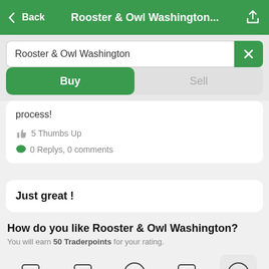< Back   Rooster & Owl Washington...   [share icon]
Rooster & Owl Washington
Buy   Sell
process!
5 Thumbs Up
0 Replys, 0 comments
Just great !
How do you like Rooster & Owl Washington?
You will earn 50 Traderpoints for your rating.